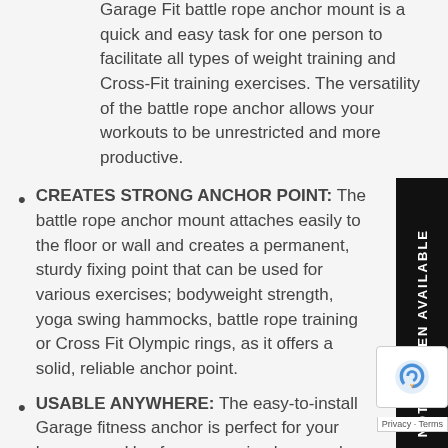Garage Fit battle rope anchor mount is a quick and easy task for one person to facilitate all types of weight training and Cross-Fit training exercises. The versatility of the battle rope anchor allows your workouts to be unrestricted and more productive.
CREATES STRONG ANCHOR POINT: The battle rope anchor mount attaches easily to the floor or wall and creates a permanent, sturdy fixing point that can be used for various exercises; bodyweight strength, yoga swing hammocks, battle rope training or Cross Fit Olympic rings, as it offers a solid, reliable anchor point.
USABLE ANYWHERE: The easy-to-install Garage fitness anchor is perfect for your home gym. Use for yoga swing hammocks, battle rope training, Cross Fit Olympic rings and numerous other exercises.
STURDILY BUILT: The Garage Fit battle rope anchor wall mount features a sturdy stainless steel